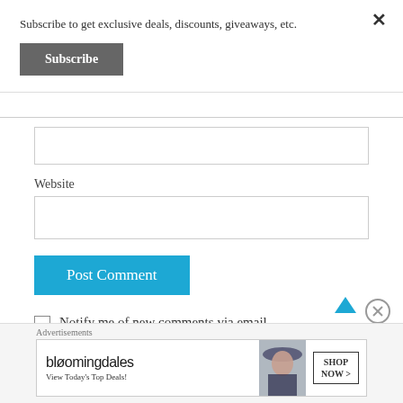Subscribe to get exclusive deals, discounts, giveaways, etc.
Subscribe
Website
Post Comment
Notify me of new comments via email.
Notify me of new posts via email.
Advertisements
[Figure (screenshot): Bloomingdale's advertisement banner: logo, 'View Today's Top Deals!', woman with hat, SHOP NOW button]